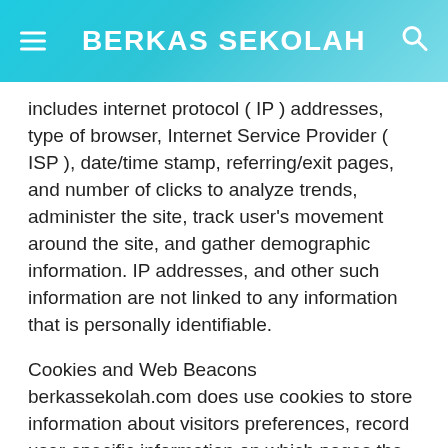BERKAS SEKOLAH
includes internet protocol ( IP ) addresses, type of browser, Internet Service Provider ( ISP ), date/time stamp, referring/exit pages, and number of clicks to analyze trends, administer the site, track user's movement around the site, and gather demographic information. IP addresses, and other such information are not linked to any information that is personally identifiable.
Cookies and Web Beacons
berkassekolah.com does use cookies to store information about visitors preferences, record user-specific information on which pages the user access or visit, customize Web page content based on visitors browser type or other information that the visitor sends via their browser.